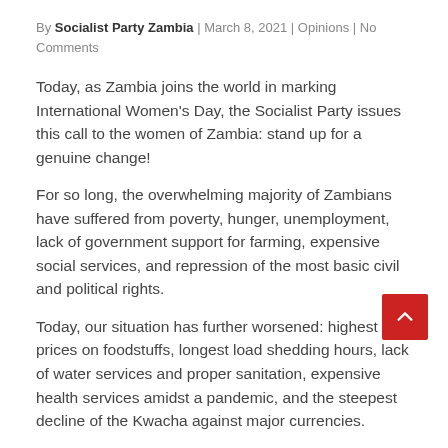By Socialist Party Zambia | March 8, 2021 | Opinions | No Comments
Today, as Zambia joins the world in marking International Women's Day, the Socialist Party issues this call to the women of Zambia: stand up for a genuine change!
For so long, the overwhelming majority of Zambians have suffered from poverty, hunger, unemployment, lack of government support for farming, expensive social services, and repression of the most basic civil and political rights.
Today, our situation has further worsened: highest prices on foodstuffs, longest load shedding hours, lack of water services and proper sanitation, expensive health services amidst a pandemic, and the steepest decline of the Kwacha against major currencies.
There has also been corruption scandal after corruption